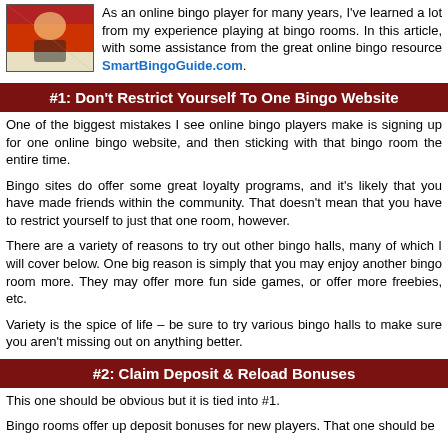[Figure (illustration): Partial image of a cartoon/illustrated figure at the top-left corner]
As an online bingo player for many years, I've learned a lot from my experience playing at bingo rooms. In this article, with some assistance from the great online bingo resource SmartBingoGuide.com.
#1: Don't Restrict Yourself To One Bingo Website
One of the biggest mistakes I see online bingo players make is signing up for one online bingo website, and then sticking with that bingo room the entire time.
Bingo sites do offer some great loyalty programs, and it's likely that you have made friends within the community. That doesn't mean that you have to restrict yourself to just that one room, however.
There are a variety of reasons to try out other bingo halls, many of which I will cover below. One big reason is simply that you may enjoy another bingo room more. They may offer more fun side games, or offer more freebies, etc.
Variety is the spice of life – be sure to try various bingo halls to make sure you aren't missing out on anything better.
#2: Claim Deposit & Reload Bonuses
This one should be obvious but it is tied into #1.
Bingo rooms offer up deposit bonuses for new players. That one should be